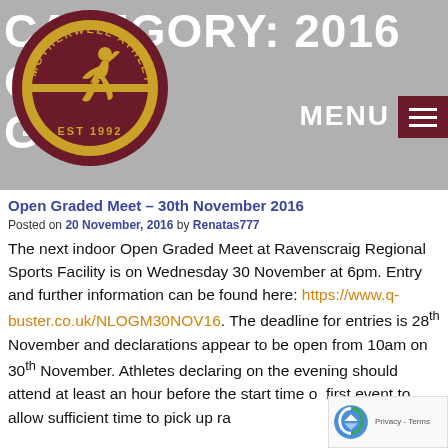CATEGORY: 2016 OPEN G…
[Figure (logo): Motherwell Athletics Club circular logo, gold/yellow and dark maroon, with a running athlete silhouette, text 'MOTHERWELL ATHLETICS CLUB' around the rim, 'EST 1992' at the bottom.]
Open Graded Meet – 30th November 2016
Posted on 20 November, 2016 by Renatas777
The next indoor Open Graded Meet at Ravenscraig Regional Sports Facility is on Wednesday 30 November at 6pm. Entry and further information can be found here: https://www.q-buster.co.uk/NLOGM30NOV16. The deadline for entries is 28th November and declarations appear to be open from 10am on 30th November. Athletes declaring on the evening should attend at least an hour before the start time of first event to allow sufficient time to pick up ra…